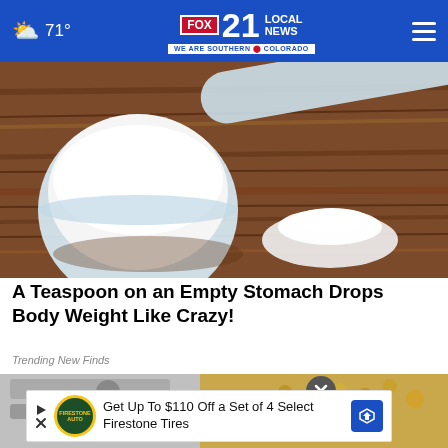71° FOX 21 LOCAL NEWS WE ARE SOUTHERN COLORADO
[Figure (photo): White powder in a clear plastic measuring scoop on a wooden surface, with a small pile of white powder in the background]
A Teaspoon on an Empty Stomach Drops Body Weight Like Crazy!
Trending New Finds
[Figure (photo): Partial view of a bottom image with an advertisement overlay: 'Get Up To $110 Off a Set of 4 Select Firestone Tires' with Firestone Auto logo]